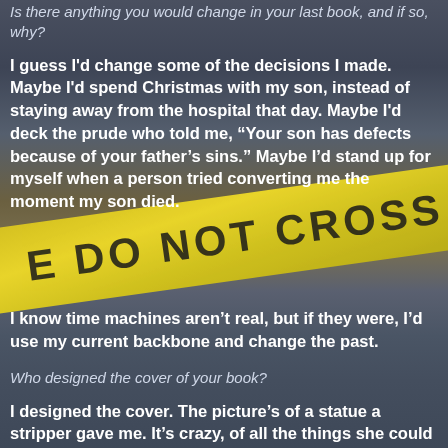Is there anything you would change in your last book, and if so, why?
I guess I'd change some of the decisions I made. Maybe I'd spend Christmas with my son, instead of staying away from the hospital that day. Maybe I'd deck the prude who told me, “Your son has defects because of your father’s sins.” Maybe I’d stand up for myself when a person tried converting me the moment my son died.
[Figure (photo): Yellow crime scene tape with DO NOT CROSS text printed in black, angled diagonally across the frame]
I know time machines aren’t real, but if they were, I’d use my current backbone and change the past.
Who designed the cover of your book?
I designed the cover. The picture’s of a statue a stripper gave me. It’s crazy, of all the things she could have given me, (like a recipe for meth, or a profession in the Fine Arts), she gave me a new understanding of life and a statue that looks just like my son.